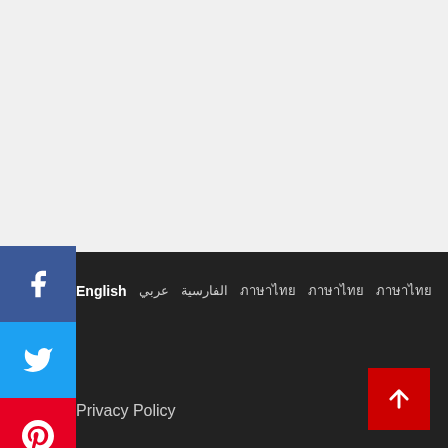[Figure (infographic): Social media share sidebar with Facebook, Twitter, Pinterest, Tumblr, WhatsApp, and Telegram icon buttons stacked vertically on the left side]
English  عربي  الفارسية  ไทย  ภาษาไทย  ภาษาไทย   Privacy Policy